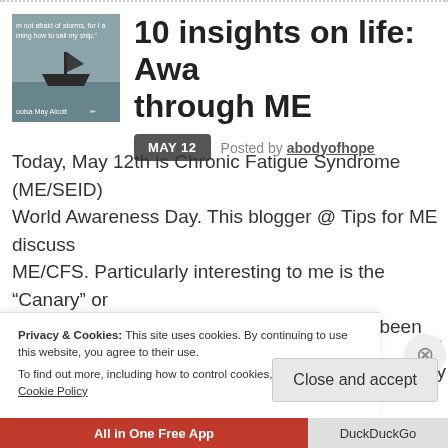[Figure (photo): Thumbnail image of a boat/ship on water with overlaid quote text: 'I am not afraid of storms, for I am learning how to sail my ship.' and attribution 'Louisa May Alcott']
10 insights on life: Awareness through ME
MAY 12   Posted by abodyofhope
Today, May 12th is Chronic Fatigue Syndrome (ME/SEID) World Awareness Day. This blogger @ Tips for ME discuss ME/CFS. Particularly interesting to me is the "Canary" or which after 5 years, my doctors still haven't been able to u
Privacy & Cookies: This site uses cookies. By continuing to use this website, you agree to their use. To find out more, including how to control cookies, see here: Cookie Policy
Close and accept
All in One Free App
DuckDuckGo